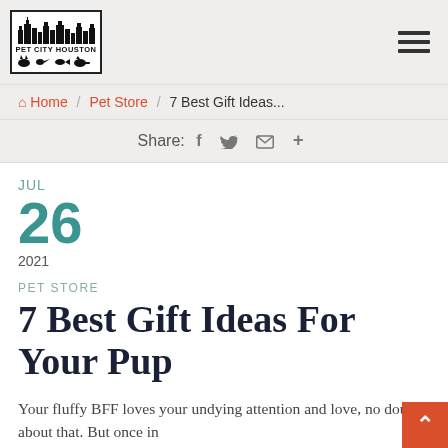[Figure (logo): Pet City Houston logo with city skyline silhouette, animal silhouettes, and border]
Home / Pet Store / 7 Best Gift Ideas...
Share: f ✓ ✉ +
JUL
26
2021
PET STORE
7 Best Gift Ideas For Your Pup
Your fluffy BFF loves your undying attention and love, no doubt about that. But once in